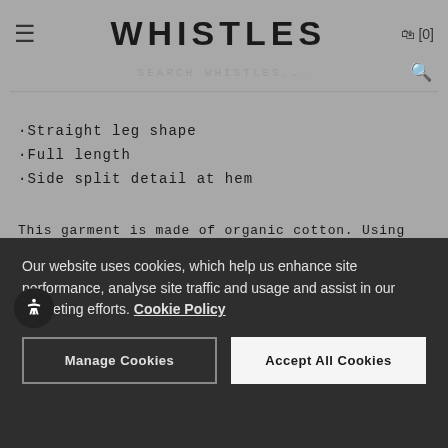WHISTLES
·Straight leg shape
·Full length
·Side split detail at hem
This garment is made of organic cotton. Using farming processes that are certified to organic agricultural standards - without the use of synthetic pesticides or fertilisers - organic cotton sustains the health of soils, ecosystems and people. Learn more here.
Our website uses cookies, which help us enhance site performance, analyse site traffic and usage and assist in our marketing efforts. Cookie Policy
Manage Cookies
Accept All Cookies